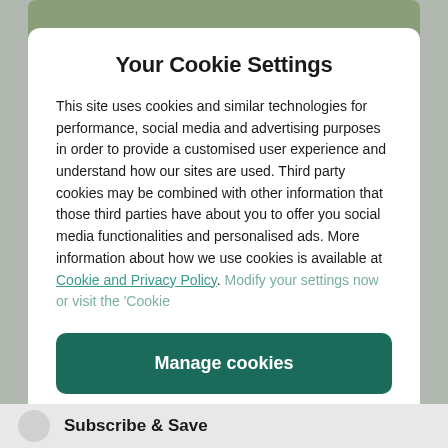Your Cookie Settings
This site uses cookies and similar technologies for performance, social media and advertising purposes in order to provide a customised user experience and understand how our sites are used. Third party cookies may be combined with other information that those third parties have about you to offer you social media functionalities and personalised ads. More information about how we use cookies is available at Cookie and Privacy Policy. Modify your settings now or visit the ‘Cookie
Manage cookies
Yes I accept
Subscribe & Save